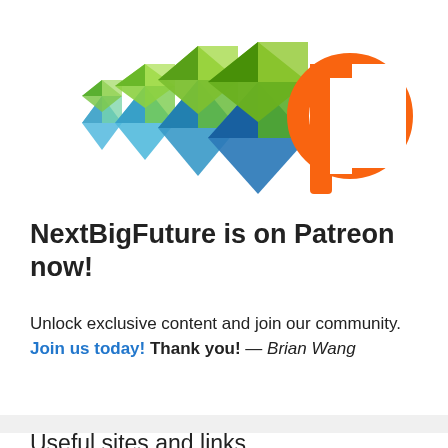[Figure (logo): NextBigFuture logo (blue and green geometric chevron arrows) alongside Patreon logo (orange letter P icon)]
NextBigFuture is on Patreon now!
Unlock exclusive content and join our community. Join us today! Thank you! — Brian Wang
Useful sites and links